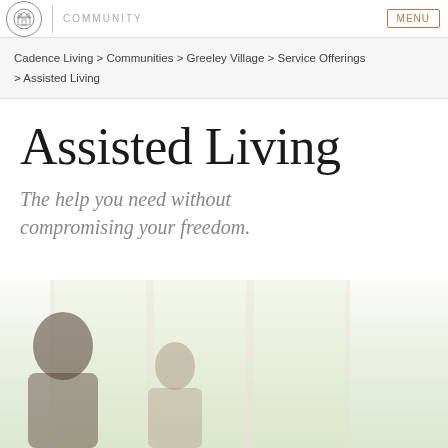COMMUNITY
Cadence Living > Communities > Greeley Village > Service Offerings > Assisted Living
Assisted Living
The help you need without compromising your freedom.
[Figure (photo): Two elderly people sitting near large windows with natural light and greenery visible outside]